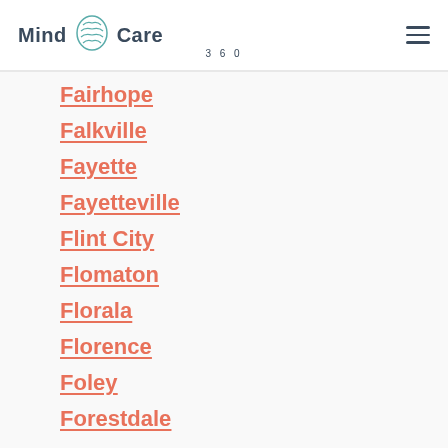Mind Care 360
Fairhope
Falkville
Fayette
Fayetteville
Flint City
Flomaton
Florala
Florence
Foley
Forestdale